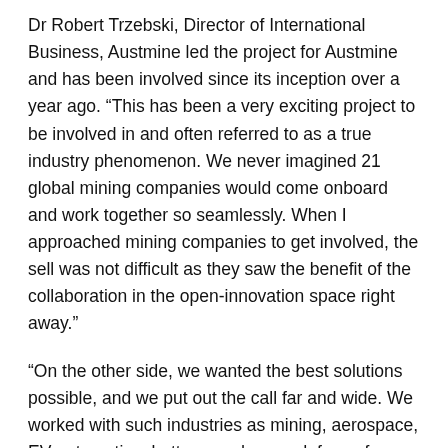Dr Robert Trzebski, Director of International Business, Austmine led the project for Austmine and has been involved since its inception over a year ago. “This has been a very exciting project to be involved in and often referred to as a true industry phenomenon. We never imagined 21 global mining companies would come onboard and work together so seamlessly. When I approached mining companies to get involved, the sell was not difficult as they saw the benefit of the collaboration in the open-innovation space right away.”
“On the other side, we wanted the best solutions possible, and we put out the call far and wide. We worked with such industries as mining, aerospace, EV automotive, battery producers, defence from 31 countries and received interest